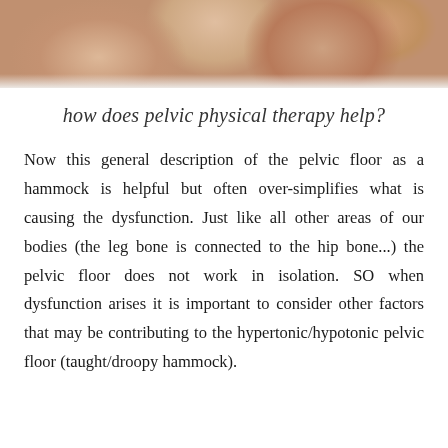[Figure (photo): Close-up photo of hands/arms with skin visible, person wearing white top, top portion of image cropped]
how does pelvic physical therapy help?
Now this general description of the pelvic floor as a hammock is helpful but often over-simplifies what is causing the dysfunction. Just like all other areas of our bodies (the leg bone is connected to the hip bone...) the pelvic floor does not work in isolation. SO when dysfunction arises it is important to consider other factors that may be contributing to the hypertonic/hypotonic pelvic floor (taught/droopy hammock).